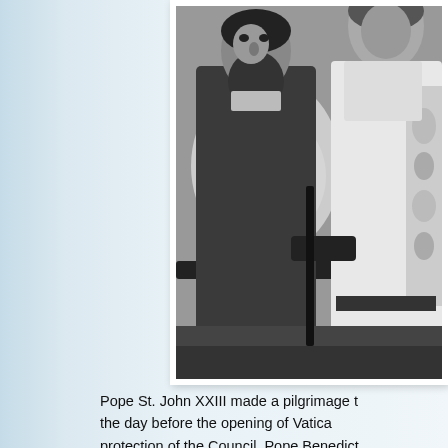[Figure (photo): Black and white photograph showing two figures in religious vestments, one with a beard, with flowers visible in the background.]
Pope St. John XXIII made a pilgrimage to the day before the opening of Vatica protection of the Council. Pope Benedict October 4, 2012 Source